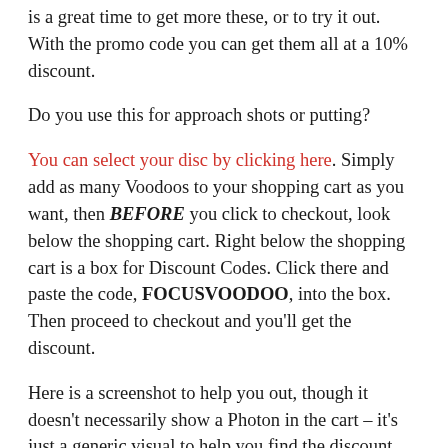is a great time to get more these, or to try it out. With the promo code you can get them all at a 10% discount.
Do you use this for approach shots or putting?
You can select your disc by clicking here. Simply add as many Voodoos to your shopping cart as you want, then BEFORE you click to checkout, look below the shopping cart. Right below the shopping cart is a box for Discount Codes. Click there and paste the code, FOCUSVOODOO, into the box. Then proceed to checkout and you'll get the discount.
Here is a screenshot to help you out, though it doesn't necessarily show a Photon in the cart – it's just a generic visual to help you find the discount code box: